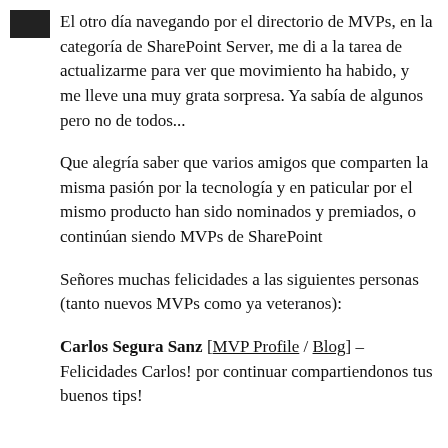El otro día navegando por el directorio de MVPs, en la categoría de SharePoint Server, me di a la tarea de actualizarme para ver que movimiento ha habido, y me lleve una muy grata sorpresa. Ya sabía de algunos pero no de todos...
Que alegría saber que varios amigos que comparten la misma pasión por la tecnología y en paticular por el mismo producto han sido nominados y premiados, o continúan siendo MVPs de SharePoint
Señores muchas felicidades a las siguientes personas (tanto nuevos MVPs como ya veteranos):
Carlos Segura Sanz [MVP Profile / Blog] – Felicidades Carlos! por continuar compartiendonos tus buenos tips!